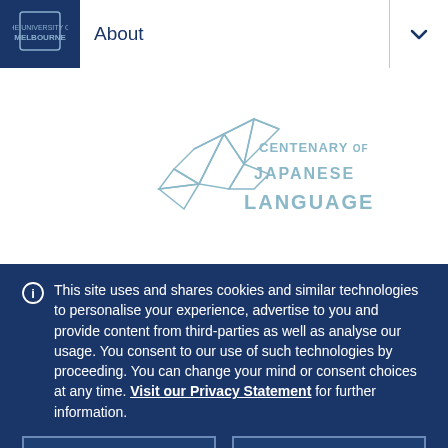About
[Figure (logo): Centenary of Japanese Language logo with origami crane and geometric text]
This site uses and shares cookies and similar technologies to personalise your experience, advertise to you and provide content from third-parties as well as analyse our usage. You consent to our use of such technologies by proceeding. You can change your mind or consent choices at any time. Visit our Privacy Statement for further information.
Accept cookies
Cookie Preferences